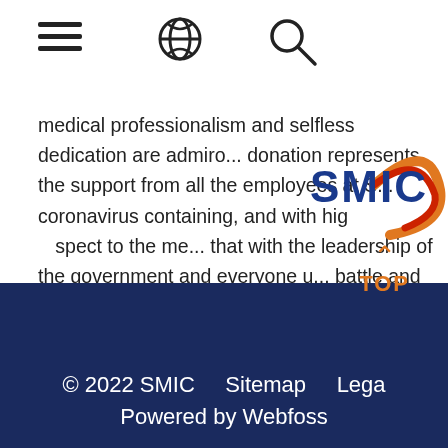[hamburger menu] [globe icon] [search icon]
medical professionalism and selfless dedication are admiro... donation represents the support from all the employees at S... coronavirus containing, and with highest respect to the me... that with the leadership of the government and everyone u... battle and defeat this disease. "
[Figure (logo): SMIC logo with blue text and orange/red swirl arc design]
TOP © 2022 SMIC   Sitemap   Lega... Powered by Webfoss